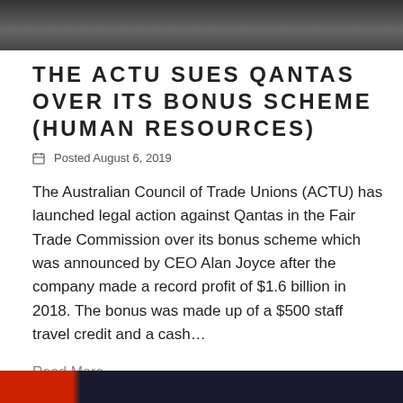[Figure (photo): Black and white photo of people outside, partially cropped at top of page]
THE ACTU SUES QANTAS OVER ITS BONUS SCHEME (HUMAN RESOURCES)
Posted August 6, 2019
The Australian Council of Trade Unions (ACTU) has launched legal action against Qantas in the Fair Trade Commission over its bonus scheme which was announced by CEO Alan Joyce after the company made a record profit of $1.6 billion in 2018. The bonus was made up of a $500 staff travel credit and a cash…
Read More
[Figure (photo): Partial image at bottom of page showing what appears to be Qantas aircraft or branding]